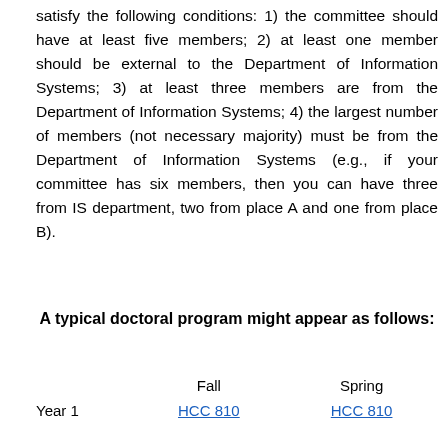satisfy the following conditions: 1) the committee should have at least five members; 2) at least one member should be external to the Department of Information Systems; 3) at least three members are from the Department of Information Systems; 4) the largest number of members (not necessary majority) must be from the Department of Information Systems (e.g., if your committee has six members, then you can have three from IS department, two from place A and one from place B).
A typical doctoral program might appear as follows:
|  | Fall | Spring |
| --- | --- | --- |
| Year 1 | HCC 810 | HCC 810 |